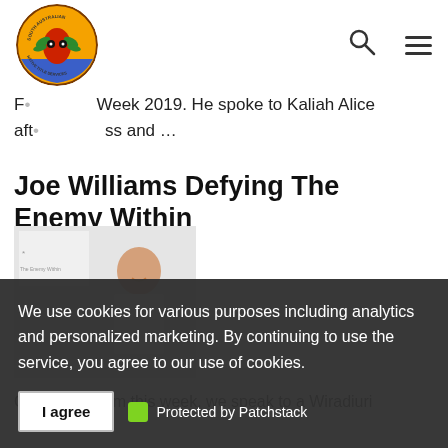South Australian Native Title Services — navigation header with logo, search icon, and hamburger menu
F… Week 2019. He spoke to Kaliah Alice aft… ss and …
Joe Williams Defying The Enemy Within
[Figure (photo): Photo of Joe Williams smiling, wearing a white sleeveless shirt, with 'The Enemy Within' logo/text in background]
On the program this week, we speak to a Wiradiuri … professional NRL player and champion boxer who has overcome his personal demons to become a speaker and advocate for …
We use cookies for various purposes including analytics and personalized marketing. By continuing to use the service, you agree to our use of cookies.
I agree   Protected by Patchstack